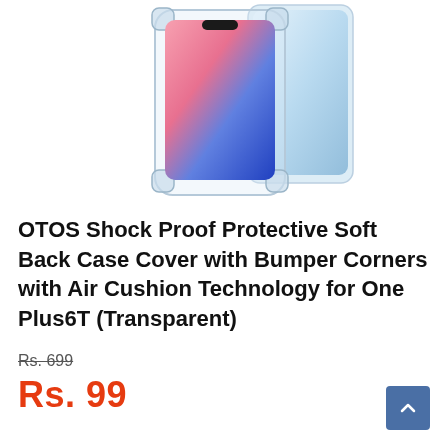[Figure (photo): Product photo of a transparent shock-proof phone case with bumper corners for OnePlus 6T, shown alongside a glass screen protector with a colorful phone screen visible]
OTOS Shock Proof Protective Soft Back Case Cover with Bumper Corners with Air Cushion Technology for One Plus6T (Transparent)
Rs. 699 (strikethrough original price)
Rs. 99